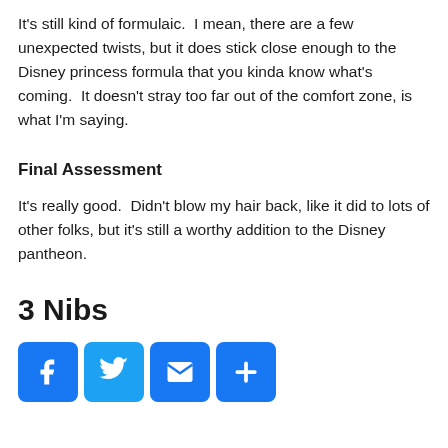It’s still kind of formulaic.  I mean, there are a few unexpected twists, but it does stick close enough to the Disney princess formula that you kinda know what’s coming.  It doesn’t stray too far out of the comfort zone, is what I’m saying.
Final Assessment
It’s really good.  Didn’t blow my hair back, like it did to lots of other folks, but it’s still a worthy addition to the Disney pantheon.
3 Nibs
[Figure (infographic): Four social media sharing buttons: Facebook (blue with F icon), Twitter (light blue with bird icon), Email (blue with envelope icon), and a plus/more button (blue with + icon).]